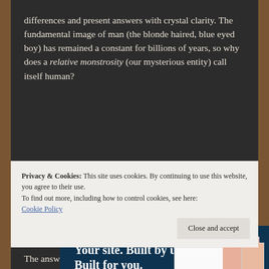differences and present answers with crystal clarity. The fundamental image of man (the blonde haired, blue eyed boy) has remained a constant for billions of years, so why does a relative monstrosity (our mysterious entity) call itself human?
[Figure (other): Advertisement banner with dark navy background reading 'Your site. Built by us. Built for you.' with a 'Get a quote now' button and a mock website screenshot showing portrait photos on a pink background.]
Privacy & Cookies: This site uses cookies. By continuing to use this website, you agree to their use.
To find out more, including how to control cookies, see here: Cookie Policy
The answer is this: It does so for three primary